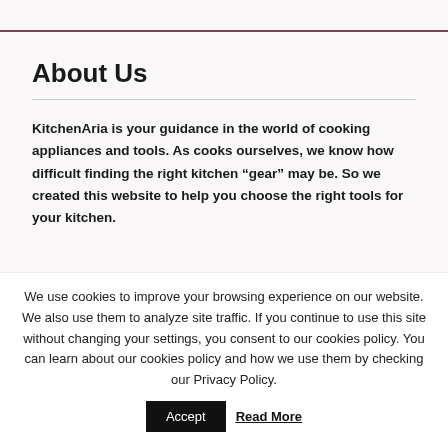About Us
KitchenAria is your guidance in the world of cooking appliances and tools. As cooks ourselves, we know how difficult finding the right kitchen “gear” may be. So we created this website to help you choose the right tools for your kitchen.
Most Popular Posts
We use cookies to improve your browsing experience on our website. We also use them to analyze site traffic. If you continue to use this site without changing your settings, you consent to our cookies policy. You can learn about our cookies policy and how we use them by checking our Privacy Policy.